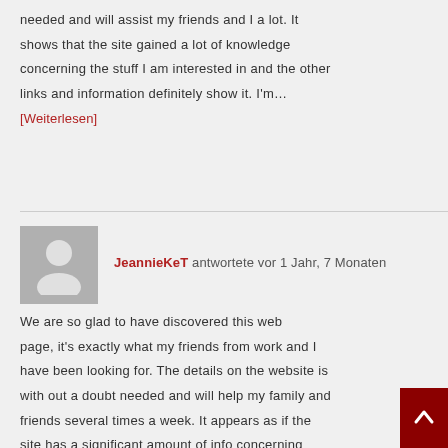needed and will assist my friends and I a lot. It shows that the site gained a lot of knowledge concerning the stuff I am interested in and the other links and information definitely show it. I'm…
[Weiterlesen]
JeannieKeT antwortete vor 1 Jahr, 7 Monaten
We are so glad to have discovered this web page, it's exactly what my friends from work and I have been looking for. The details on the website is with out a doubt needed and will help my family and friends several times a week. It appears as if the site has a significant amount of info concerning subjects on the site and the other links and…
[Weiterlesen]